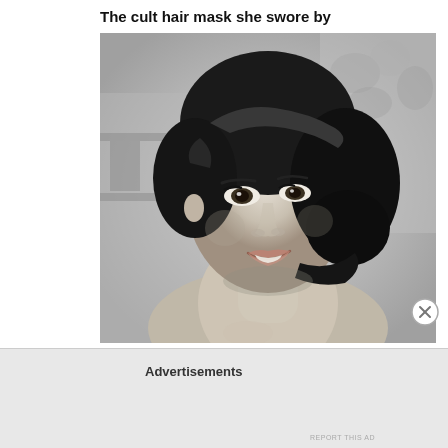The cult hair mask she swore by
[Figure (photo): Black and white portrait photograph of a woman with a stylish short dark wavy hairstyle, smiling, photographed in classic mid-century style]
Advertisements